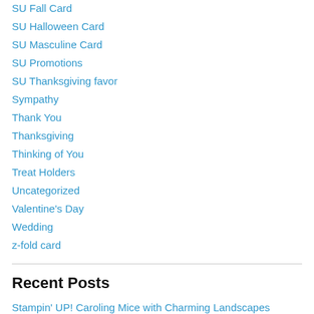SU Fall Card
SU Halloween Card
SU Masculine Card
SU Promotions
SU Thanksgiving favor
Sympathy
Thank You
Thanksgiving
Thinking of You
Treat Holders
Uncategorized
Valentine's Day
Wedding
z-fold card
Recent Posts
Stampin' UP! Caroling Mice with Charming Landscapes Embossing Folders
Stampin' UP! bouquet of holly bundles with Painted Christmas DSP